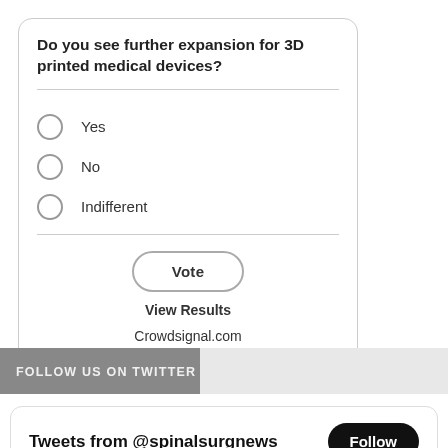Do you see further expansion for 3D printed medical devices?
Yes
No
Indifferent
Vote
View Results
Crowdsignal.com
FOLLOW US ON TWITTER
Tweets from @spinalsurgnews
Follow